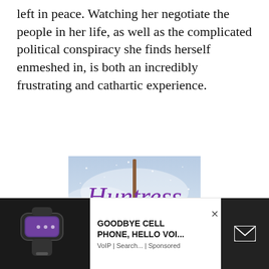left in peace. Watching her negotiate the people in her life, as well as the complicated political conspiracy she finds herself enmeshed in, is both an incredibly frustrating and cathartic experience.
[Figure (illustration): Book cover for 'Huntress' showing a young woman with long black hair blowing in wind holding a staff/spear upright, set against a snowy misty sky background. The title 'Huntress' is written in purple cursive/script font.]
[Figure (screenshot): Advertisement banner at the bottom of the page. Left side shows a dark wearable fitness tracker device. Middle shows ad text 'GOODBYE CELL PHONE, HELLO VOI...' with subtitle 'VoIP | Search... | Sponsored' and an X close button. Right side shows a dark panel with a white envelope/email icon.]